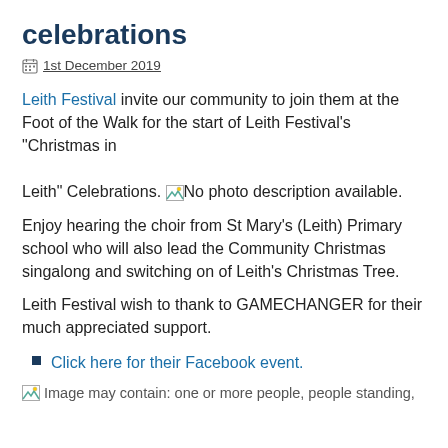celebrations
1st December 2019
Leith Festival invite our community to join them at the Foot of the Walk for the start of Leith Festival's "Christmas in Leith" Celebrations. No photo description available.
Enjoy hearing the choir from St Mary's (Leith) Primary school who will also lead the Community Christmas singalong and switching on of Leith's Christmas Tree.
Leith Festival wish to thank to GAMECHANGER for their much appreciated support.
Click here for their Facebook event.
Image may contain: one or more people, people standing,